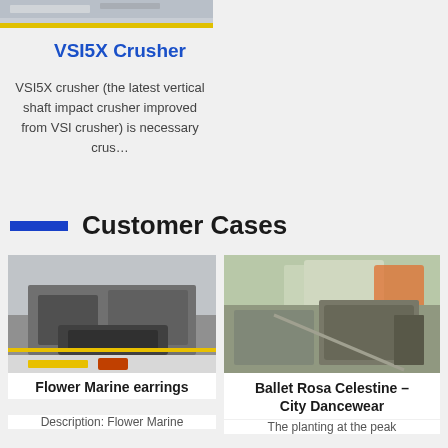[Figure (photo): Top portion of a VSI5X crusher machine image, partially cropped at the top of the page]
VSI5X Crusher
VSI5X crusher (the latest vertical shaft impact crusher improved from VSI crusher) is necessary crus…
Customer Cases
[Figure (photo): Industrial crusher machinery inside a large warehouse/factory with yellow floor markings — Flower Marine earrings case]
Flower Marine earrings
Description: Flower Marine
[Figure (photo): Outdoor mining/quarry site with cone crusher and conveyor belt equipment and excavator — Ballet Rosa Celestine City Dancewear case]
Ballet Rosa Celestine – City Dancewear
The planting at the peak